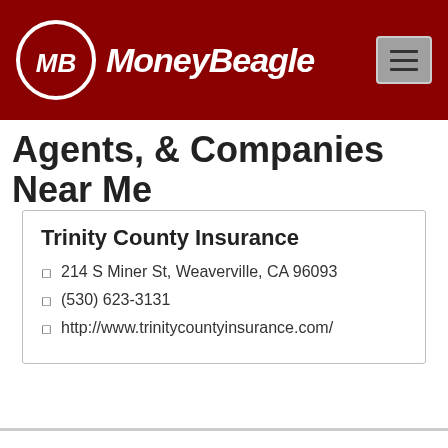[Figure (logo): MoneyBeagle logo with MB in white circle on dark red header background, with hamburger menu icon]
Agents, & Companies Near Me
Trinity County Insurance
◻ 214 S Miner St, Weaverville, CA 96093
◻ (530) 623-3131
◻ http://www.trinitycountyinsurance.com/
Compare Cheap Car Insurance Quotes Now
Enter Zip
Get Rates >